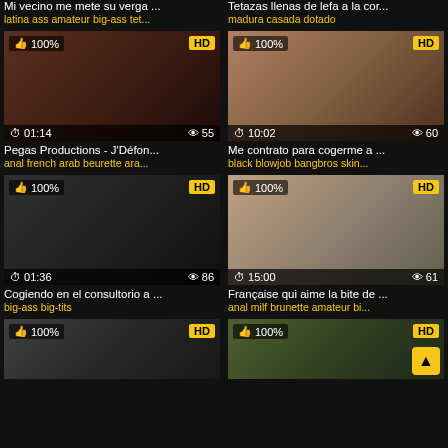Mi vecino me mete su verga ... | latina ass amateur big-ass tet...
Tetazas llenas de lefa a la cor... | madura casada dotado
[Figure (photo): Video thumbnail 1 with HD badge, 100% rating, duration 01:14, 55 views]
Pegas Productions - J'Défon... | anal french arab beurette ara...
[Figure (photo): Video thumbnail 2 with HD badge, 100% rating, duration 10:02, 60 views]
Me contrato para cogerme a ... | black blowjob bangbros skin...
[Figure (photo): Video thumbnail 3 with HD badge, 100% rating, duration 01:36, 86 views]
Cogiendo en el consultorio a ... | big-ass big-tits
[Figure (photo): Video thumbnail 4 with HD badge, 100% rating, duration 15:00, 61 views]
Française qui aime la bite de ... | anal milf brunette amateur bi...
[Figure (photo): Video thumbnail 5 partial with HD badge, 100% rating]
[Figure (photo): Video thumbnail 6 partial with HD badge, 100% rating]